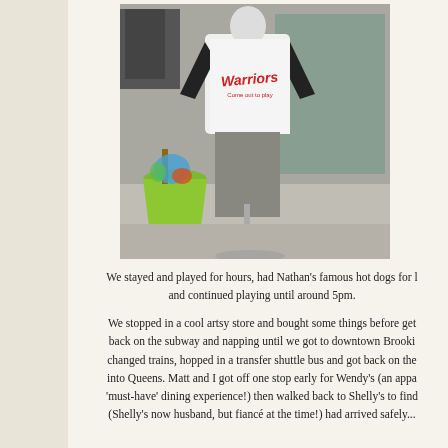[Figure (photo): A mannequin wearing a white and black raglan baseball t-shirt that reads 'Warriors' in red lettering, displayed outside a store. A bright green planter/pot is visible to the left of the mannequin.]
We stayed and played for hours, had Nathan's famous hot dogs for l and continued playing until around 5pm.
We stopped in a cool artsy store and bought some things before get back on the subway and napping until we got to downtown Brooki changed trains, hopped in a transfer shuttle bus and got back on the into Queens. Matt and I got off one stop early for Wendy's (an appa 'must-have' dining experience!) then walked back to Shelly's to find (Shelly's now husband, but fiancé at the time!) had arrived safely...